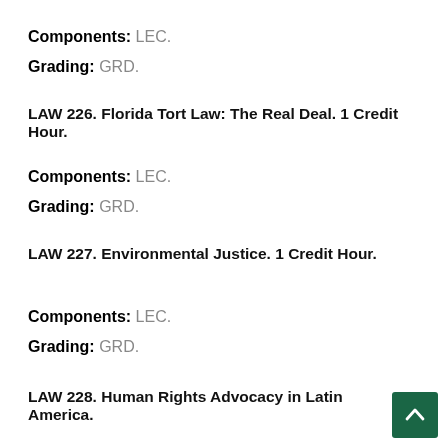Components: LEC.
Grading: GRD.
LAW 226. Florida Tort Law: The Real Deal. 1 Credit Hour.
Components: LEC.
Grading: GRD.
LAW 227. Environmental Justice. 1 Credit Hour.
Components: LEC.
Grading: GRD.
LAW 228. Human Rights Advocacy in Latin America.